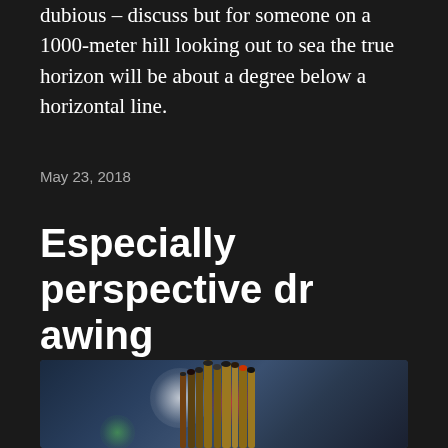dubious – discuss but for someone on a 1000-meter hill looking out to sea the true horizon will be about a degree below a horizontal line.
May 23, 2018
Especially perspective drawing
[Figure (photo): A close-up photo of a bunch of paint brushes in a container, with colorful bokeh lights in the background (white, red, green). The image is slightly cropped at the bottom.]